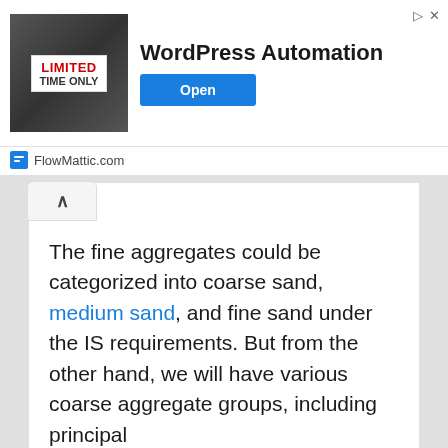[Figure (screenshot): Advertisement banner for WordPress Automation by FlowMattic.com, featuring a man in a suit holding a 'LIMITED TIME ONLY' sign, with an 'Open' button]
The fine aggregates could be categorized into coarse sand, medium sand, and fine sand under the IS requirements. But from the other hand, we will have various coarse aggregate groups, including principal